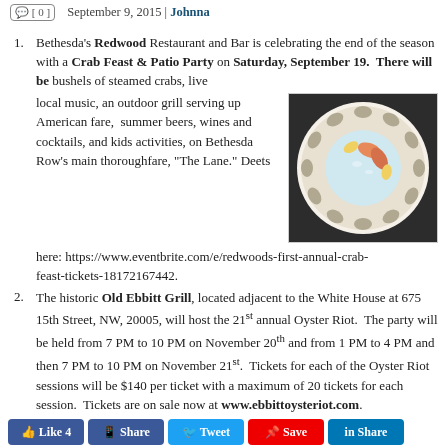[ 0 ]   September 9, 2015 | Johnna
Bethesda's Redwood Restaurant and Bar is celebrating the end of the season with a Crab Feast & Patio Party on Saturday, September 19. There will be bushels of steamed crabs, live local music, an outdoor grill serving up American fare, summer beers, wines and cocktails, and kids activities, on Bethesda Row's main thoroughfare, "The Lane." Deets here: https://www.eventbrite.com/e/redwoods-first-annual-crab-feast-tickets-18172167442.
[Figure (photo): Overhead photo of a seafood platter with oysters, shrimp, and other shellfish on ice, served on a white plate on a dark surface.]
The historic Old Ebbitt Grill, located adjacent to the White House at 675 15th Street, NW, 20005, will host the 21st annual Oyster Riot. The party will be held from 7 PM to 10 PM on November 20th and from 1 PM to 4 PM and then 7 PM to 10 PM on November 21st. Tickets for each of the Oyster Riot sessions will be $140 per ticket with a maximum of 20 tickets for each session. Tickets are on sale now at www.ebbittoysteriot.com.